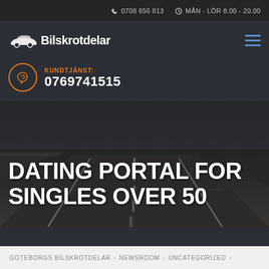0708656813  MÅN - LÖR 8.00 - 20.00
[Figure (logo): Bilskrotdelar logo with car silhouette icon and text]
KUNDTJÄNST:
0769741515
[Figure (photo): Aerial road view with motion blur, dark grey tones]
DATING PORTAL FOR SINGLES OVER 50
GOTEBORGS BILSKROTDELAR > NEWSROOM > UNCATEGORIZED >